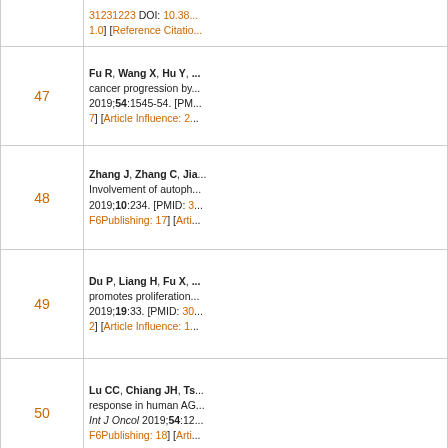| # | Reference |
| --- | --- |
|  | ...31231223 DOI: 10.38.../1.0] [Reference Citatio... |
| 47 | Fu R, Wang X, Hu Y, ... cancer progression by... 2019;54:1545-54. [PM...7] [Article Influence: 2.... |
| 48 | Zhang J, Zhang C, Jia... Involvement of autoph... 2019;10:234. [PMID: 3... F6Publishing: 17] [Arti... |
| 49 | Du P, Liang H, Fu X, ... promotes proliferation... 2019;19:33. [PMID: 30...2] [Article Influence: 1.... |
| 50 | Lu CC, Chiang JH, Ts... response in human AG... Int J Oncol 2019;54:12... F6Publishing: 18] [Arti... |
| 51 | Zheng YY, Xiao R, Zh... Proliferation and Metas... 30821275 DOI: 10.339... |
| 52 | Cui D, Zhao Y, Xu J, A... transition of papillary t... |